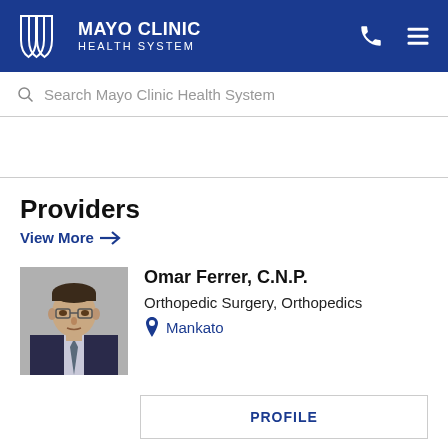[Figure (logo): Mayo Clinic Health System logo with shield icon and text on blue header bar]
Search Mayo Clinic Health System
Providers
View More →
[Figure (photo): Portrait photo of Omar Ferrer, a middle-aged man wearing glasses and a suit with tie]
Omar Ferrer, C.N.P.
Orthopedic Surgery, Orthopedics
Mankato
PROFILE